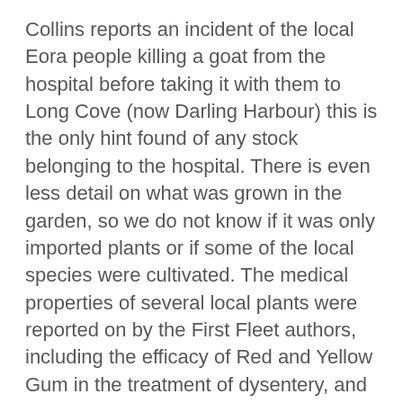Collins reports an incident of the local Eora people killing a goat from the hospital before taking it with them to Long Cove (now Darling Harbour) this is the only hint found of any stock belonging to the hospital. There is even less detail on what was grown in the garden, so we do not know if it was only imported plants or if some of the local species were cultivated. The medical properties of several local plants were reported on by the First Fleet authors, including the efficacy of Red and Yellow Gum in the treatment of dysentery, and which wild vegetables were found to treat scurvy. In the early months the colonists experimented with wild vegetables and found, what Collins described as “wild celery, spinach, and parsley, fortunately grew in abundance about the settlement; those who were in health, as well as the sick, were very glad to introduce them into their messes, and found them a pleasant as well as wholesome addition to the ration of salt provisions.”
However, neither he nor anyone else mentions if these plants were transplanted to the hospital gardens. The early images of the hospital complex show that the gardens were quite large, with enough room for animal stalls.